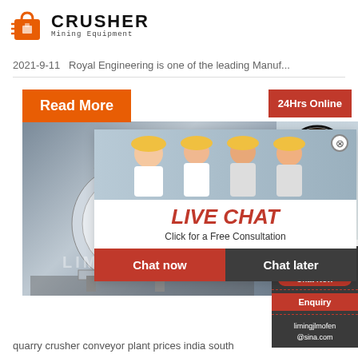[Figure (logo): Crusher Mining Equipment logo with red shopping bag/crusher icon and bold CRUSHER text]
2021-9-11  Royal Engineering is one of the leading Manuf...
[Figure (infographic): Orange Read More button, live chat popup overlay with workers in hard hats, LIVE CHAT heading in red italic, Click for a Free Consultation, Chat now and Chat later buttons, 24Hrs Online red badge, consultant photo on right side, Need questions & suggestion panel with Chat Now pill, Enquiry button, limingjlmofen@sina.com email, and machinery image with LIMING watermark]
crush
ltd in
kemp
quarry crusher conveyor plant prices india south